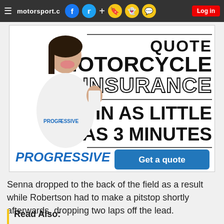motorsport.com navigation bar with social icons
[Figure (advertisement): Progressive Insurance advertisement: 'Quote Motorcycle Insurance in as little as 3 minutes' with woman in Progressive uniform pumping fist, PROGRESSIVE logo in blue italic, and 'Get a quote' blue button]
Senna dropped to the back of the field as a result while Robertson had to make a pitstop shortly afterwards, dropping two laps off the lead.
Read Also: